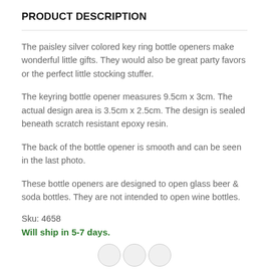PRODUCT DESCRIPTION
The paisley silver colored key ring bottle openers make wonderful little gifts. They would also be great party favors or the perfect little stocking stuffer.
The keyring bottle opener measures 9.5cm x 3cm. The actual design area is 3.5cm x 2.5cm. The design is sealed beneath scratch resistant epoxy resin.
The back of the bottle opener is smooth and can be seen in the last photo.
These bottle openers are designed to open glass beer & soda bottles. They are not intended to open wine bottles.
Sku: 4658
Will ship in 5-7 days.